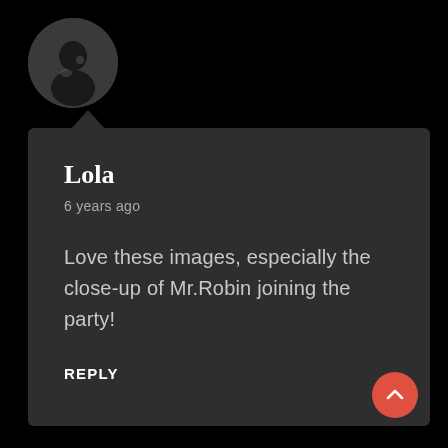[Figure (photo): Circular avatar photo of a person, dark background]
Lola
6 years ago
Love these images, especially the close-up of Mr.Robin joining the party!
REPLY